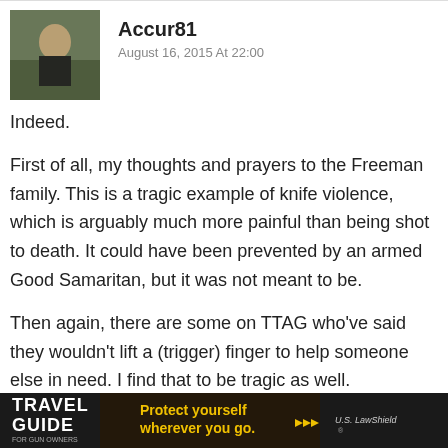Accur81
August 16, 2015 At 22:00
Indeed.
First of all, my thoughts and prayers to the Freeman family. This is a tragic example of knife violence, which is arguably much more painful than being shot to death. It could have been prevented by an armed Good Samaritan, but it was not meant to be.
Then again, there are some on TTAG who've said they wouldn't lift a (trigger) finger to help someone else in need. I find that to be tragic as well.
[Figure (infographic): Travel Guide For Gun Owners advertisement banner. Dark background with text: 'TRAVEL GUIDE FOR GUN OWNERS' on the left, 'Protect yourself wherever you go.' in yellow in the center with arrow icons, and 'U.S. LawShield' branding on the right.]